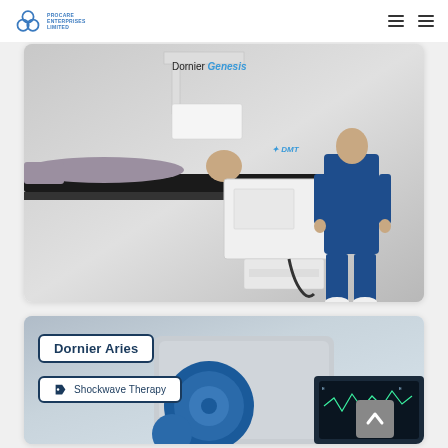Procare Enterprises Limited
[Figure (photo): Medical device photo: Dornier Genesis lithotripsy system with patient lying on treatment table and medical professional standing beside it. DMT brand logo visible.]
[Figure (photo): Medical device photo: Dornier Aries shockwave therapy device, partially visible, with overlaid labels 'Dornier Aries' and 'Shockwave Therapy' and a back-to-top navigation button.]